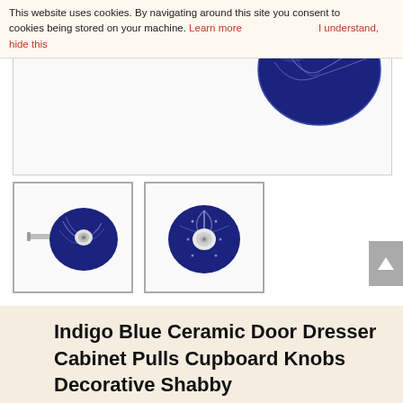This website uses cookies. By navigating around this site you consent to cookies being stored on your machine. Learn more    I understand, hide this
[Figure (photo): Top portion of an indigo blue ceramic decorative knob visible at top, cropped]
[Figure (photo): Indigo blue ceramic door knob with white decorative pattern, side view with metal screw post visible]
[Figure (photo): Indigo blue ceramic door knob with white circular decorative pattern, front view]
Indigo Blue Ceramic Door Dresser Cabinet Pulls Cupboard Knobs Decorative Shabby